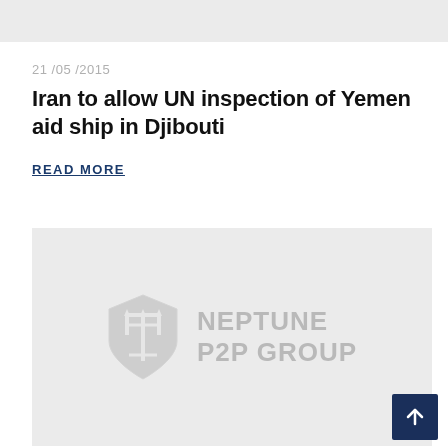[Figure (other): Light gray placeholder image banner at top]
21 /05 /2015
Iran to allow UN inspection of Yemen aid ship in Djibouti
READ MORE
[Figure (logo): Neptune P2P Group logo with shield icon on light gray background]
[Figure (other): Scroll-to-top button with upward arrow, dark navy background]